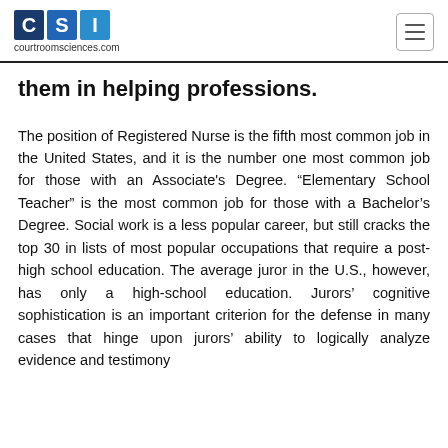CSI courtroomsciences.com
them in helping professions.
The position of Registered Nurse is the fifth most common job in the United States, and it is the number one most common job for those with an Associate's Degree. “Elementary School Teacher” is the most common job for those with a Bachelor’s Degree. Social work is a less popular career, but still cracks the top 30 in lists of most popular occupations that require a post-high school education. The average juror in the U.S., however, has only a high-school education. Jurors’ cognitive sophistication is an important criterion for the defense in many cases that hinge upon jurors’ ability to logically analyze evidence and testimony